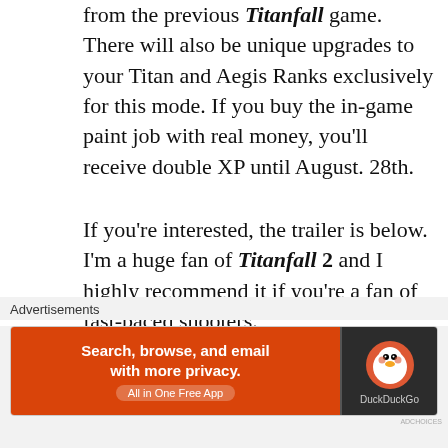from the previous Titanfall game. There will also be unique upgrades to your Titan and Aegis Ranks exclusively for this mode. If you buy the in-game paint job with real money, you'll receive double XP until August. 28th.
If you're interested, the trailer is below. I'm a huge fan of Titanfall 2 and I highly recommend it if you're a fan of fast-paced shooters.
[Figure (screenshot): YouTube video thumbnail for 'Titanfall 2 - Operation Frontier ...' showing armored titan robots in a dark sci-fi setting with a red play button overlay and Apex/channel logo]
Advertisements
[Figure (other): DuckDuckGo advertisement banner: orange left panel with text 'Search, browse, and email with more privacy. All in One Free App' and dark right panel with DuckDuckGo logo]